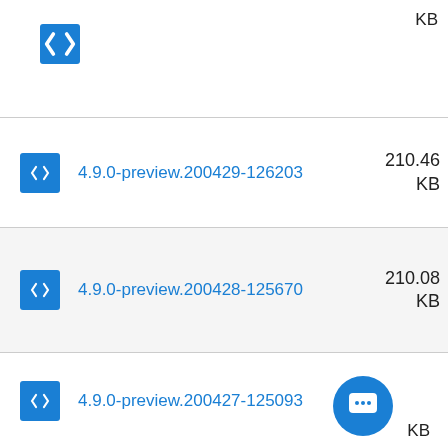(partial row at top) KB
4.9.0-preview.200429-126203 — 210.46 KB
4.9.0-preview.200428-125670 — 210.08 KB
4.9.0-preview.200427-125093 — KB